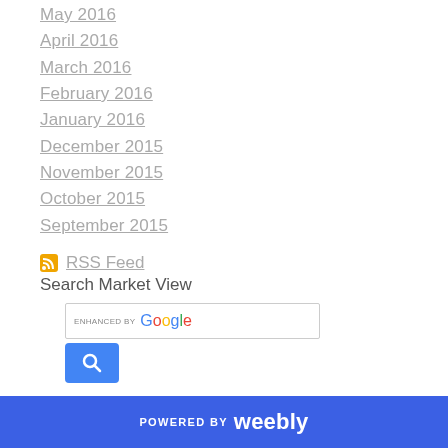May 2016
April 2016
March 2016
February 2016
January 2016
December 2015
November 2015
October 2015
September 2015
RSS Feed
Search Market View
[Figure (screenshot): Google enhanced search box with blue search button]
POWERED BY weebly